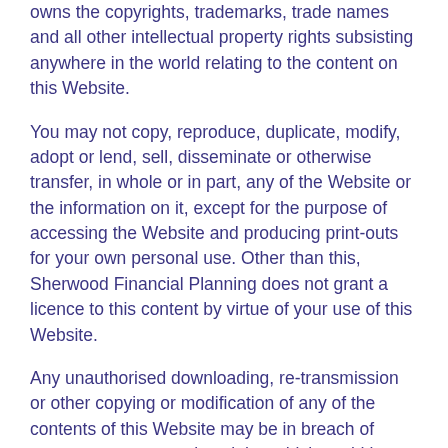owns the copyrights, trademarks, trade names and all other intellectual property rights subsisting anywhere in the world relating to the content on this Website.
You may not copy, reproduce, duplicate, modify, adopt or lend, sell, disseminate or otherwise transfer, in whole or in part, any of the Website or the information on it, except for the purpose of accessing the Website and producing print-outs for your own personal use. Other than this, Sherwood Financial Planning does not grant a licence to this content by virtue of your use of this Website.
Any unauthorised downloading, re-transmission or other copying or modification of any of the contents of this Website may be in breach of statutory or common law rights which could be the subject of legal action. Sherwood Financial Planning disclaims all liability which may result from any unauthorised reproduction or use of the information on this Website. All rights not expressly granted are reserved by Sherwood Financial Planning or its licensors.